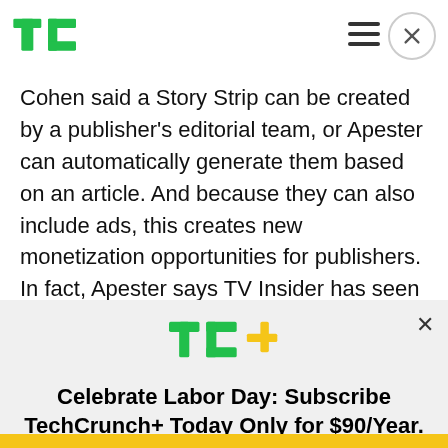TechCrunch logo and navigation
Cohen said a Story Strip can be created by a publisher's editorial team, or Apester can automatically generate them based on an article. And because they can also include ads, this creates new monetization opportunities for publishers. In fact, Apester says TV Insider has seen its daily revenue double since the two
[Figure (logo): TC+ TechCrunch Plus logo in green and yellow]
Celebrate Labor Day: Subscribe TechCrunch+ Today Only for $90/Year.
GET OFFER NOW